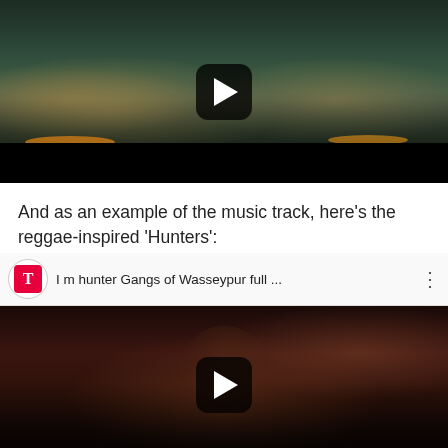[Figure (screenshot): YouTube video thumbnail showing three men with flower garlands, with a play button overlay. Appears to be a scene from Gangs of Wasseypur or similar Indian film.]
And as an example of the music track, here’s the reggae-inspired ‘Hunters’:
[Figure (screenshot): YouTube video embed showing 'I m hunter Gangs of Wasseypur full ...' with T-Series logo, a woman adjusting sunglasses, and a play button overlay.]